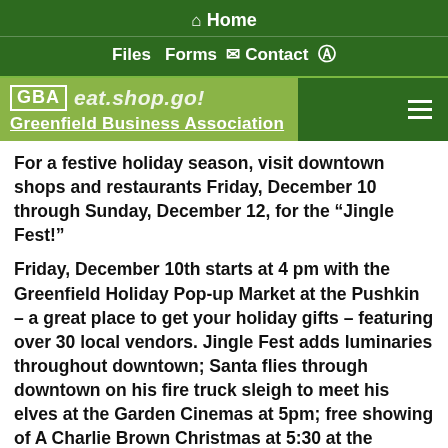🏠 Home
Files  Forms  ✉ Contact  Facebook
[Figure (logo): Greenfield Business Association logo with GBA box, eat.shop.go! tagline, and green background]
For a festive holiday season, visit downtown shops and restaurants Friday, December 10 through Sunday, December 12, for the “Jingle Fest!”
Friday, December 10th starts at 4 pm with the Greenfield Holiday Pop-up Market at the Pushkin – a great place to get your holiday gifts – featuring over 30 local vendors. Jingle Fest adds luminaries throughout downtown; Santa flies through downtown on his fire truck sleigh to meet his elves at the Garden Cinemas at 5pm; free showing of A Charlie Brown Christmas at 5:30 at the Garden Cinemas; an evening of family-fun at the LAVA